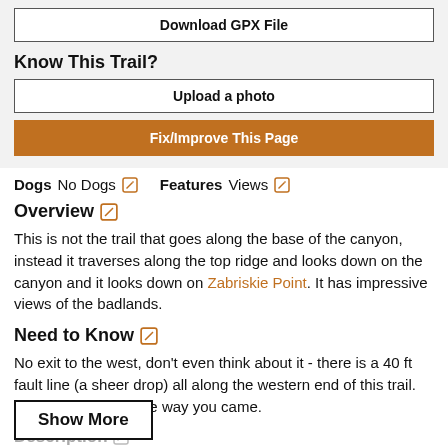Download GPX File
Know This Trail?
Upload a photo
Fix/Improve This Page
Dogs  No Dogs    Features  Views
Overview
This is not the trail that goes along the base of the canyon, instead it traverses along the top ridge and looks down on the canyon and it looks down on Zabriskie Point. It has impressive views of the badlands.
Need to Know
No exit to the west, don't even think about it - there is a 40 ft fault line (a sheer drop) all along the western end of this trail. You must go back the way you came.
Description
Zabriskie Point lookout and the entire badlands
Show More